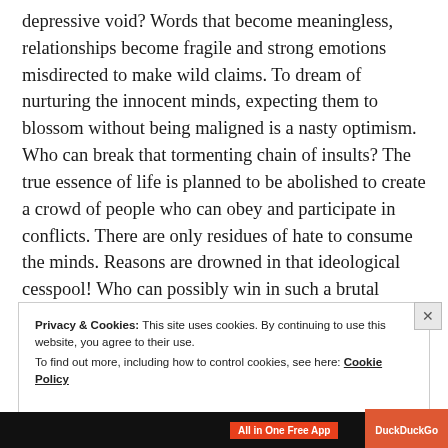depressive void? Words that become meaningless, relationships become fragile and strong emotions misdirected to make wild claims. To dream of nurturing the innocent minds, expecting them to blossom without being maligned is a nasty optimism. Who can break that tormenting chain of insults? The true essence of life is planned to be abolished to create a crowd of people who can obey and participate in conflicts. There are only residues of hate to consume the minds. Reasons are drowned in that ideological cesspool! Who can possibly win in such a brutal manner? Inflicting indirect wounds incarcerate the delinquent minds too.
Privacy & Cookies: This site uses cookies. By continuing to use this website, you agree to their use. To find out more, including how to control cookies, see here: Cookie Policy
Close and accept
[Figure (other): Advertisement bar at bottom with orange 'All in One Free App' label and DuckDuckGo branding on dark background]